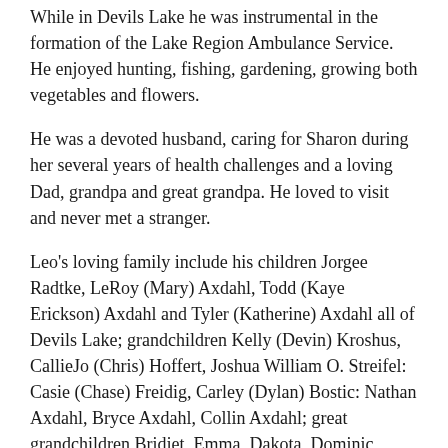While in Devils Lake he was instrumental in the formation of the Lake Region Ambulance Service. He enjoyed hunting, fishing, gardening, growing both vegetables and flowers.
He was a devoted husband, caring for Sharon during her several years of health challenges and a loving Dad, grandpa and great grandpa. He loved to visit and never met a stranger.
Leo's loving family include his children Jorgee Radtke, LeRoy (Mary) Axdahl, Todd (Kaye Erickson) Axdahl and Tyler (Katherine) Axdahl all of Devils Lake; grandchildren Kelly (Devin) Kroshus, CallieJo (Chris) Hoffert, Joshua William O. Streifel: Casie (Chase) Freidig, Carley (Dylan) Bostic: Nathan Axdahl, Bryce Axdahl, Collin Axdahl; great grandchildren Bridjet, Emma, Dakota, Dominic, Jewel, Lance, RyLynn, Reese, Shelby, Leo, Louis and Audrey; sisters Eleanor Lerol, White Bear Lake, MN and Kay Winnans, Bemidji MN and many nieces, nephews and cousins.
He was preceded in death by his parents, wife Sharon, son-in-